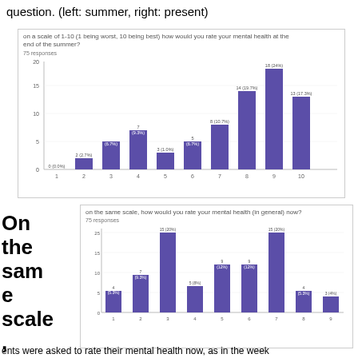question. (left: summer, right: present)
[Figure (bar-chart): on a scale of 1-10 (1 being worst, 10 being best) how would you rate your mental health at the end of the summer?]
[Figure (bar-chart): on the same scale, how would you rate your mental health (in general) now?]
On the same scale, students were asked to rate their mental health now, as in the week